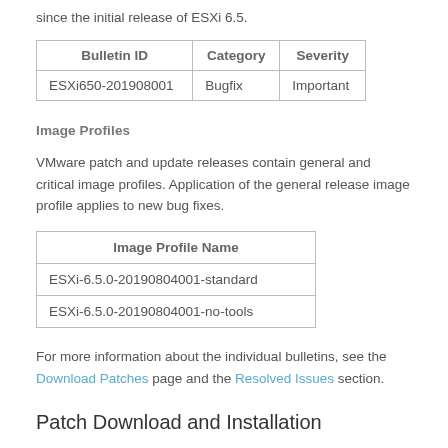since the initial release of ESXi 6.5.
| Bulletin ID | Category | Severity |
| --- | --- | --- |
| ESXi650-201908001 | Bugfix | Important |
Image Profiles
VMware patch and update releases contain general and critical image profiles. Application of the general release image profile applies to new bug fixes.
| Image Profile Name |
| --- |
| ESXi-6.5.0-20190804001-standard |
| ESXi-6.5.0-20190804001-no-tools |
For more information about the individual bulletins, see the Download Patches page and the Resolved Issues section.
Patch Download and Installation
The typical way to apply patches to ESXi hosts is through the VMware vSphere Update Manager. For details, see the About...